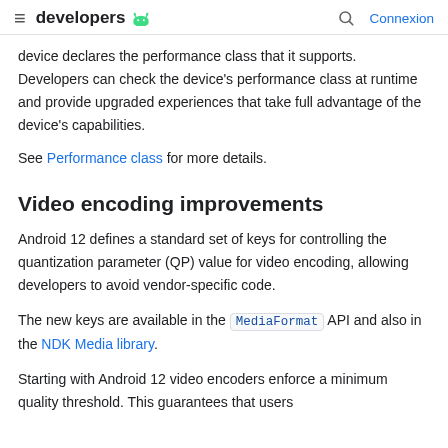≡ developers 🤖  🔍 Connexion
device declares the performance class that it supports. Developers can check the device's performance class at runtime and provide upgraded experiences that take full advantage of the device's capabilities.
See Performance class for more details.
Video encoding improvements
Android 12 defines a standard set of keys for controlling the quantization parameter (QP) value for video encoding, allowing developers to avoid vendor-specific code.
The new keys are available in the MediaFormat API and also in the NDK Media library.
Starting with Android 12 video encoders enforce a minimum quality threshold. This guarantees that users